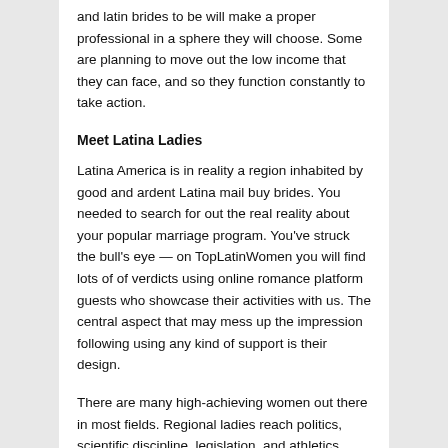and latin brides to be will make a proper professional in a sphere they will choose. Some are planning to move out the low income that they can face, and so they function constantly to take action.
Meet Latina Ladies
Latina America is in reality a region inhabited by good and ardent Latina mail buy brides. You needed to search for out the real reality about your popular marriage program. You've struck the bull's eye — on TopLatinWomen you will find lots of of verdicts using online romance platform guests who showcase their activities with us. The central aspect that may mess up the impression following using any kind of support is their design.
There are many high-achieving women out there in most fields. Regional ladies reach politics, scientific discipline, legislation, and athletics. However , if you're able to be a great earner and preserve your liked types monetarily, a Latina spouse might gladly take liability for home chores and kids. The whole planet goes online nowadays, and